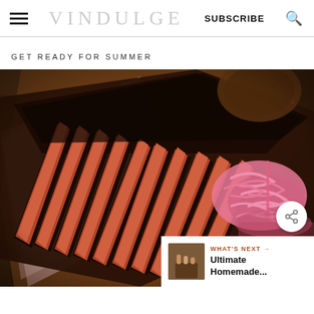VINDULGE — SUBSCRIBE
GET READY FOR SUMMER
[Figure (photo): Sliced smoked brisket on a wooden board with pink pickled onions on the side, photographed from above on a dark wooden surface.]